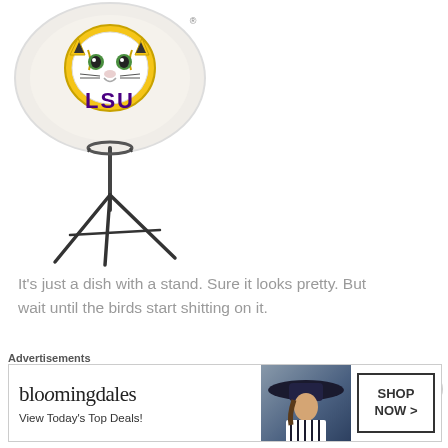[Figure (photo): LSU branded bird bath / dish on a tripod stand. Round dish with LSU tiger logo on white/beige background, mounted on black metal tripod legs.]
It's just a dish with a stand. Sure it looks pretty. But wait until the birds start shitting on it.
Advertisements
[Figure (photo): Bloomingdale's advertisement banner: 'bloomingdales' logo on left, 'View Today's Top Deals!' tagline, woman in wide-brim hat photo in center, 'SHOP NOW >' button on right.]